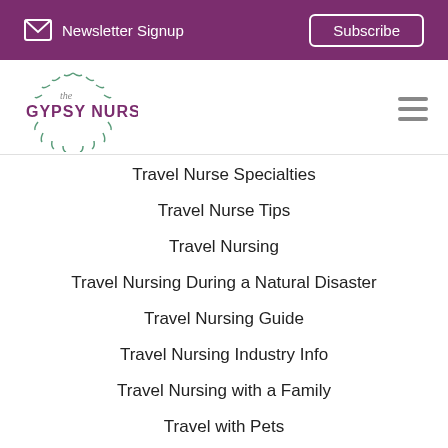Newsletter Signup | Subscribe
[Figure (logo): The Gypsy Nurse logo with decorative leaf wreath and purple text]
Travel Nurse Specialties
Travel Nurse Tips
Travel Nursing
Travel Nursing During a Natural Disaster
Travel Nursing Guide
Travel Nursing Industry Info
Travel Nursing with a Family
Travel with Pets